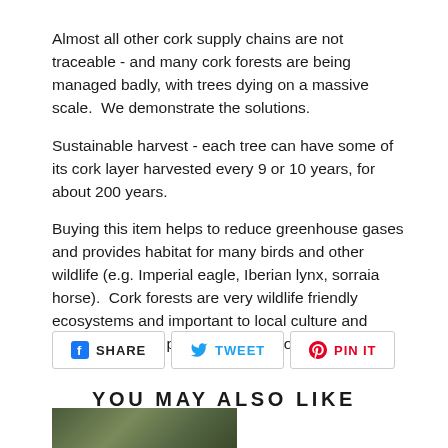Almost all other cork supply chains are not traceable - and many cork forests are being managed badly, with trees dying on a massive scale.  We demonstrate the solutions.
Sustainable harvest - each tree can have some of its cork layer harvested every 9 or 10 years, for about 200 years.
Buying this item helps to reduce greenhouse gases and provides habitat for many birds and other wildlife (e.g. Imperial eagle, Iberian lynx, sorraia horse).  Cork forests are very wildlife friendly ecosystems and important to local culture and traditions – your purchase helps conserve all this.
[Figure (other): Social share buttons: SHARE (Facebook), TWEET (Twitter), PIN IT (Pinterest)]
YOU MAY ALSO LIKE
[Figure (photo): Partial photo of cork forest or related nature scene at bottom of page]